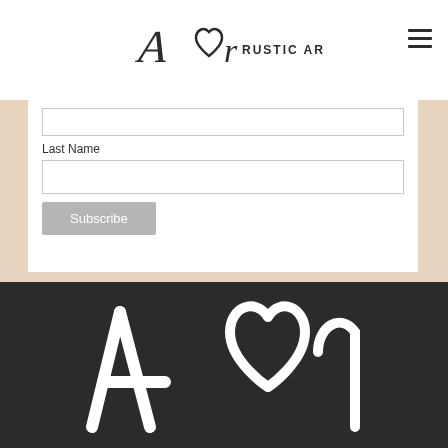[Figure (logo): Amor Rustic Arts handwritten logo with text 'RUSTIC ARTS' in caps]
[Figure (other): Hamburger menu icon (three horizontal lines) in top right corner]
Last Name
[Figure (other): Empty text input field for Last Name]
[Figure (other): Subscribe button]
[Figure (logo): Large white Amor Rustic Arts signature logo on dark background]